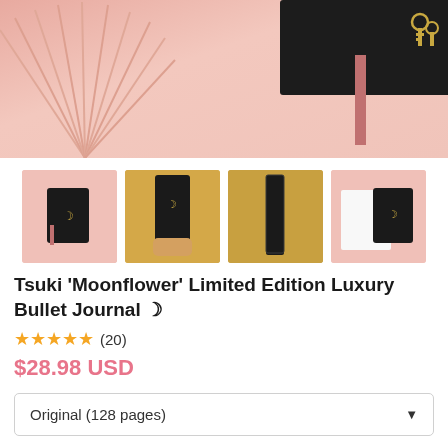[Figure (photo): Main product photo showing a black journal with pink bookmark on a pink background with paper fan decoration and gold keys]
[Figure (photo): Four thumbnail images of the Tsuki Moonflower journal: front view on pink, held on gold background, spine on gold background, and with packaging on pink background]
Tsuki 'Moonflower' Limited Edition Luxury Bullet Journal 🌙
★★★★★ (20)
$28.98 USD
Original (128 pages)